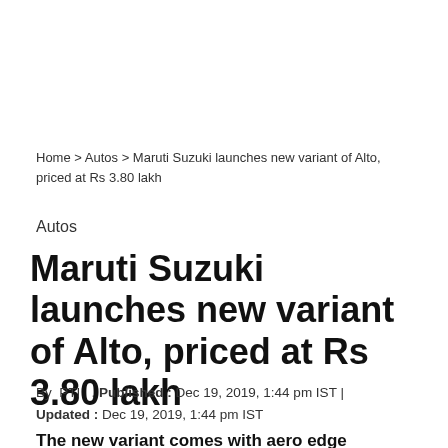Home > Autos > Maruti Suzuki launches new variant of Alto, priced at Rs 3.80 lakh
Autos
Maruti Suzuki launches new variant of Alto, priced at Rs 3.80 lakh
By PTI , Published : Dec 19, 2019, 1:44 pm IST | Updated : Dec 19, 2019, 1:44 pm IST
The new variant comes with aero edge